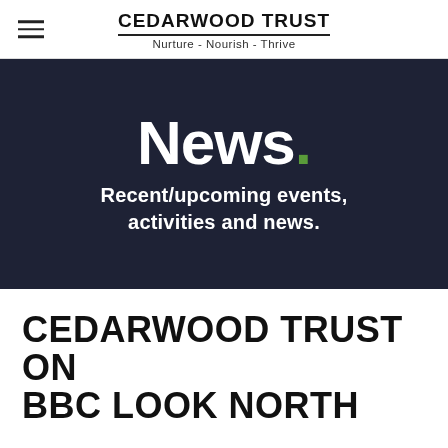CEDARWOOD TRUST
Nurture - Nourish - Thrive
News.
Recent/upcoming events, activities and news.
CEDARWOOD TRUST ON BBC LOOK NORTH